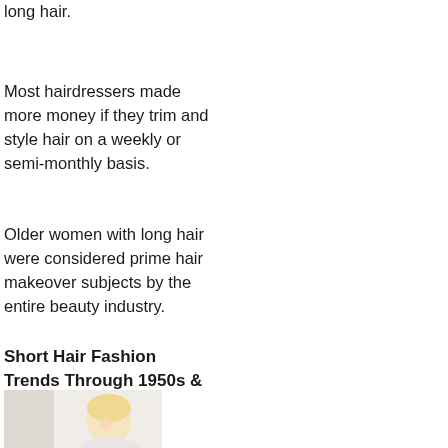long hair.
Most hairdressers made more money if they trim and style hair on a weekly or semi-monthly basis.
Older women with long hair were considered prime hair makeover subjects by the entire beauty industry.
Short Hair Fashion Trends Through 1950s & 1960s
[Figure (photo): Photograph of a woman with blond hair, partial view, light background]